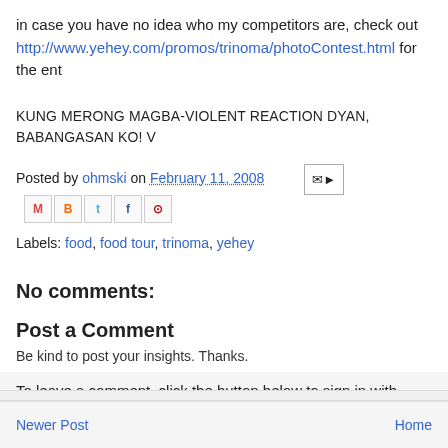in case you have no idea who my competitors are, check out http://www.yehey.com/promos/trinoma/photoContest.html for the ent
KUNG MERONG MAGBA-VIOLENT REACTION DYAN, BABANGASAN KO! V
Posted by ohmski on February 11, 2008 [share icons]
Labels: food, food tour, trinoma, yehey
No comments:
Post a Comment
Be kind to post your insights. Thanks.
To leave a comment, click the button below to sign in with
[Figure (other): SIGN IN WITH GOOGLE button]
Newer Post    Home